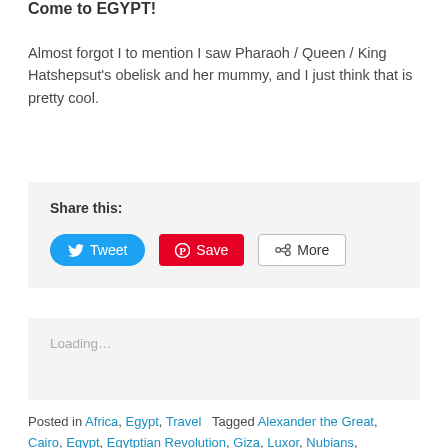Come to EGYPT!
Almost forgot I to mention I saw Pharaoh / Queen / King Hatshepsut's obelisk and her mummy, and I just think that is pretty cool.
Share this:
[Figure (infographic): Social share buttons: Tweet (Twitter blue), Save (Pinterest red), More (outlined button)]
Loading…
Posted in Africa, Egypt, Travel   Tagged Alexander the Great, Cairo, Egypt, Egytptian Revolution, Giza, Luxor, Nubians,